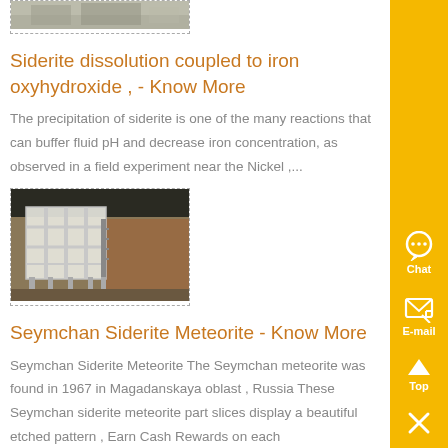[Figure (photo): Partial view of a landscape/terrain photo at the top of the page, shown cropped]
Siderite dissolution coupled to iron oxyhydroxide , - Know More
The precipitation of siderite is one of the many reactions that can buffer fluid pH and decrease iron concentration, as observed in a field experiment near the Nickel ,...
[Figure (photo): Industrial building interior with white structural frames/scaffolding on pillars, inside a large warehouse or factory]
Seymchan Siderite Meteorite - Know More
Seymchan Siderite Meteorite The Seymchan meteorite was found in 1967 in Magadanskaya oblast , Russia These Seymchan siderite meteorite part slices display a beautiful etched pattern , Earn Cash Rewards on each